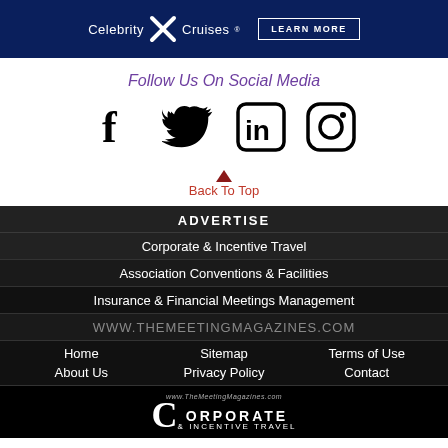[Figure (other): Celebrity X Cruises advertisement banner with 'LEARN MORE' button on dark blue background]
Follow Us On Social Media
[Figure (other): Social media icons: Facebook, Twitter, LinkedIn, Instagram]
Back To Top
ADVERTISE
Corporate & Incentive Travel
Association Conventions & Facilities
Insurance & Financial Meetings Management
WWW.THEMEETINGMAGAZINES.COM
Home
Sitemap
Terms of Use
About Us
Privacy Policy
Contact
[Figure (logo): Corporate & Incentive Travel magazine logo on black background with www.TheMeetingMagazines.com]